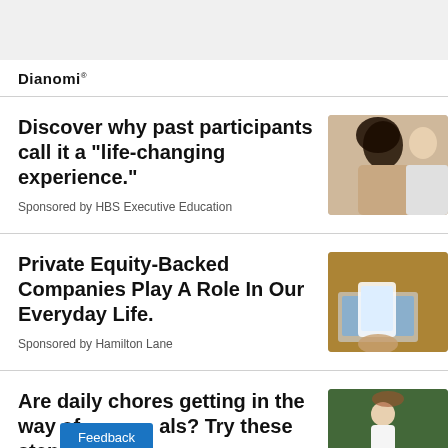[Figure (logo): Dianomi logo — bold sans-serif text with registered trademark superscript]
Discover why past participants call it a "life-changing experience."
Sponsored by HBS Executive Education
[Figure (photo): Photo of two people in a classroom/educational setting, woman with curly hair smiling]
Private Equity-Backed Companies Play A Role In Our Everyday Life.
Sponsored by Hamilton Lane
[Figure (photo): Photo of person using tablet with laptop in background]
Are daily chores getting in the way of your goals? Try these steps.
[Figure (photo): Photo of person in outdoor/nature setting]